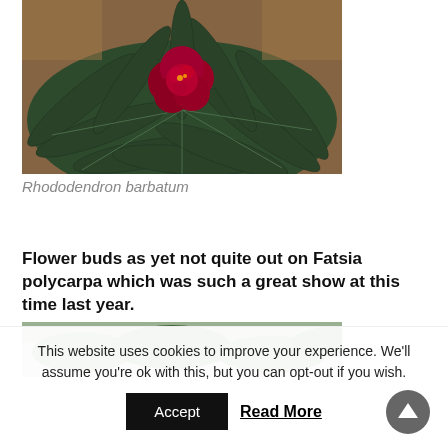[Figure (photo): Close-up photograph of a Rhododendron barbatum with a deep red/crimson flower cluster surrounded by elongated dark green leaves, taken in a garden setting with leaf litter in the background.]
Rhododendron barbatum
Flower buds as yet not quite out on Fatsia polycarpa which was such a great show at this time last year.
[Figure (photo): Partial view of a garden plant, showing green foliage with a blurred background of stone or wall.]
This website uses cookies to improve your experience. We'll assume you're ok with this, but you can opt-out if you wish.